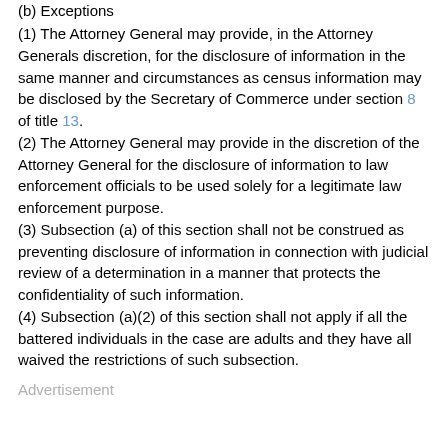(b) Exceptions
(1) The Attorney General may provide, in the Attorney Generals discretion, for the disclosure of information in the same manner and circumstances as census information may be disclosed by the Secretary of Commerce under section 8 of title 13.
(2) The Attorney General may provide in the discretion of the Attorney General for the disclosure of information to law enforcement officials to be used solely for a legitimate law enforcement purpose.
(3) Subsection (a) of this section shall not be construed as preventing disclosure of information in connection with judicial review of a determination in a manner that protects the confidentiality of such information.
(4) Subsection (a)(2) of this section shall not apply if all the battered individuals in the case are adults and they have all waived the restrictions of such subsection.
Advertisement
(5) The Attorney General is authorized to disclose information, to Federal, State, and local public and private agencies providing benefits, to be used solely in making determinations of eligibility for benefits